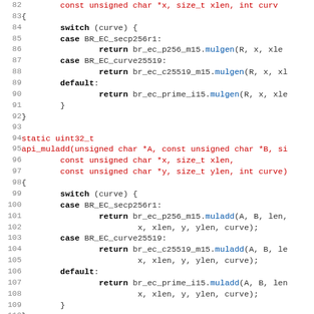[Figure (screenshot): Source code listing in C showing a switch statement for EC curve dispatch, lines 82-114, with syntax highlighting: keywords in bold black, types/parameters in red, method calls in blue.]